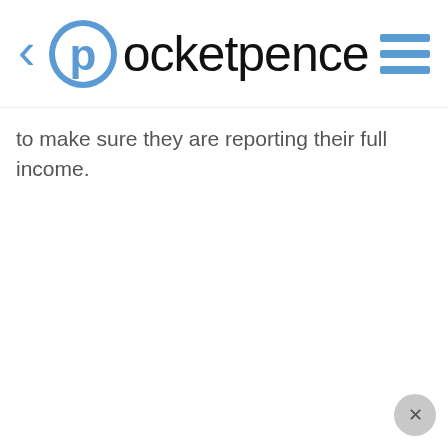pocketpence
to make sure they are reporting their full income.